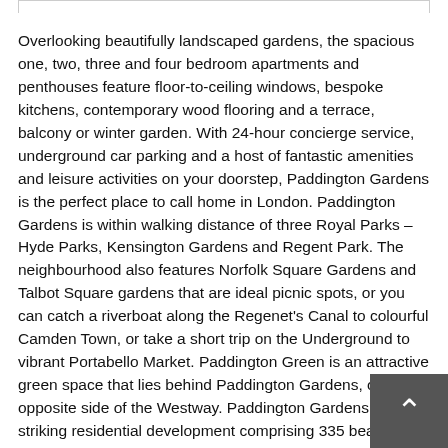Overlooking beautifully landscaped gardens, the spacious one, two, three and four bedroom apartments and penthouses feature floor-to-ceiling windows, bespoke kitchens, contemporary wood flooring and a terrace, balcony or winter garden. With 24-hour concierge service, underground car parking and a host of fantastic amenities and leisure activities on your doorstep, Paddington Gardens is the perfect place to call home in London. Paddington Gardens is within walking distance of three Royal Parks – Hyde Parks, Kensington Gardens and Regent Park. The neighbourhood also features Norfolk Square Gardens and Talbot Square gardens that are ideal picnic spots, or you can catch a riverboat along the Regenet's Canal to colourful Camden Town, or take a short trip on the Underground to vibrant Portabello Market. Paddington Green is an attractive green space that lies behind Paddington Gardens, on the opposite side of the Westway. Paddington Gardens is a striking residential development comprising 335 beautifully designed apartments and penthouses. All apartments at Paddington Gardens enjoy a spacious balcony, terrace or winter garden. The design of Paddington Gardens is centered around a beautifully landscaped garden, which includes